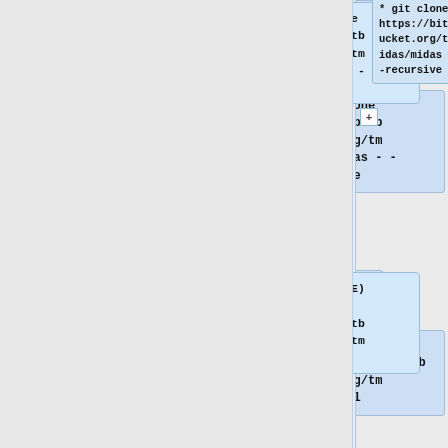* git clone https://bitbucket.org/tmidas/midas --recursive
* (OBSOLETE) git clone https://bitbucket.org/tmidas/mxml
* (OBSOLETE) git clone https://bitbucket.org/tmidas/mscb
* (IF BITBUCKET IS DOWN) git clone -v --progress